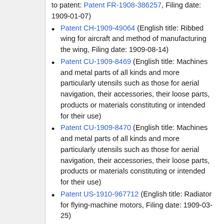to patent: Patent FR-1908-386257, Filing date: 1909-01-07)
Patent CH-1909-49064 (English title: Ribbed wing for aircraft and method of manufacturing the wing, Filing date: 1909-08-14)
Patent CU-1909-8469 (English title: Machines and metal parts of all kinds and more particularly utensils such as those for aerial navigation, their accessories, their loose parts, products or materials constituting or intended for their use)
Patent CU-1909-8470 (English title: Machines and metal parts of all kinds and more particularly utensils such as those for aerial navigation, their accessories, their loose parts, products or materials constituting or intended for their use)
Patent US-1910-967712 (English title: Radiator for flying-machine motors, Filing date: 1909-03-25)
Patent US-1911-987540 (English title: Means for supporting aerial machines, Filing date: 1909-01-11)
Patent FR-1910-11037-19430 (English title: ...